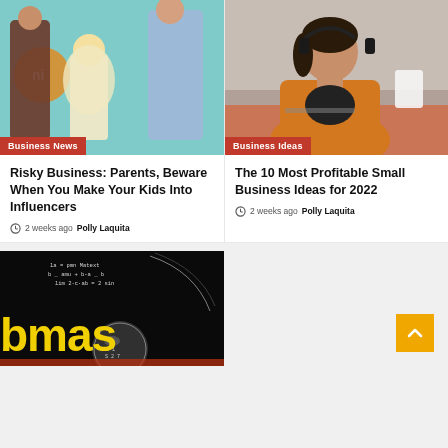[Figure (photo): Photo of adults with a young blonde girl at what appears to be an event, turquoise background]
Business News
Risky Business: Parents, Beware When You Make Your Kids Into Influencers
2 weeks ago  Polly Laquita
[Figure (photo): Woman with headphones wearing orange jacket sitting at a desk in an office]
Business Ideas
The 10 Most Profitable Small Business Ideas for 2022
2 weeks ago  Polly Laquita
[Figure (photo): Dark background with math equations and yellow text reading 'bmas' with a crystal ball]
[Figure (other): Orange scroll-to-top button with upward arrow]